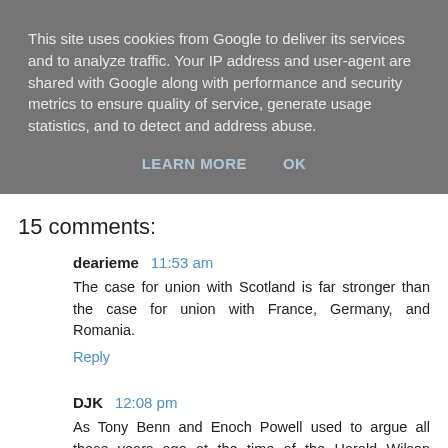This site uses cookies from Google to deliver its services and to analyze traffic. Your IP address and user-agent are shared with Google along with performance and security metrics to ensure quality of service, generate usage statistics, and to detect and address abuse.
LEARN MORE   OK
15 comments:
dearieme  11:53 am
The case for union with Scotland is far stronger than the case for union with France, Germany, and Romania.
Reply
DJK  12:08 pm
As Tony Benn and Enoch Powell used to argue all those years ago at the time of the Harold Wilson referendum, you can't have democracy in Europe because there is no single